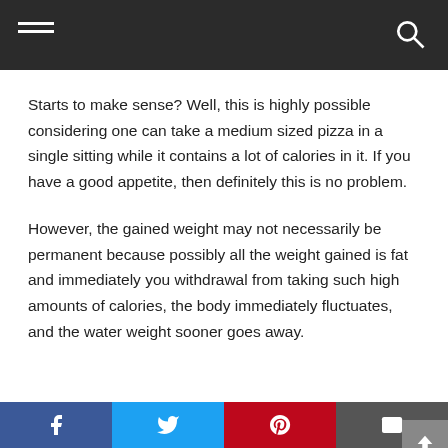Navigation bar with hamburger menu and search icon
Starts to make sense? Well, this is highly possible considering one can take a medium sized pizza in a single sitting while it contains a lot of calories in it. If you have a good appetite, then definitely this is no problem.
However, the gained weight may not necessarily be permanent because possibly all the weight gained is fat and immediately you withdrawal from taking such high amounts of calories, the body immediately fluctuates, and the water weight sooner goes away.
Share bar: Facebook, Twitter, Pinterest, Email